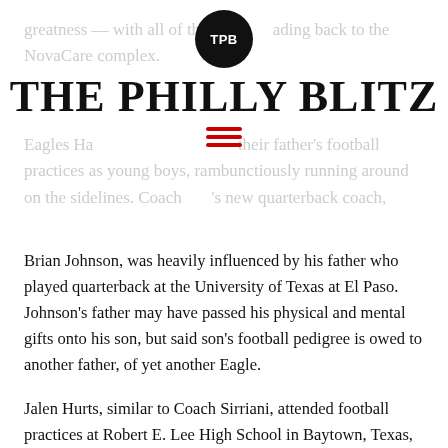greatness — with all of these leading back to the NovaCare complex.
[Figure (logo): TPB circular logo with white text on black background]
THE PHILLY BLITZ
[Figure (other): Red hamburger menu icon (three horizontal red lines)]
Eagles Hall ... their father's football practices as young boys, rambunctiously running around on the sidelines. Coach ... 's new quarterback coach,
Brian Johnson, was heavily influenced by his father who played quarterback at the University of Texas at El Paso. Johnson's father may have passed his physical and mental gifts onto his son, but said son's football pedigree is owed to another father, of yet another Eagle.
Jalen Hurts, similar to Coach Sirriani, attended football practices at Robert E. Lee High School in Baytown, Texas, where his father, Averion Hurts, was the head coach. When Jalen was just four year old, Coach Hurts was coaching and mentoring an incredibly talented young man at the helm of his offense — a young